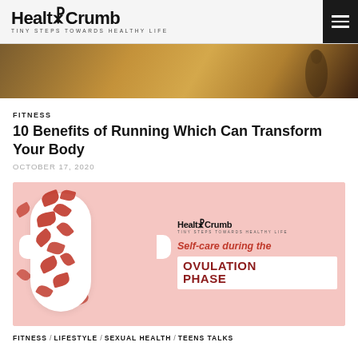HealthCrumb — TINY STEPS TOWARDS HEALTHY LIFE
[Figure (photo): Hero image: warm brown toned photo with silhouette, partial view]
FITNESS
10 Benefits of Running Which Can Transform Your Body
OCTOBER 17, 2020
[Figure (photo): Pink background image with sanitary pad, rose petals, HealthCrumb logo, and text: Self-care during the OVULATION PHASE]
FITNESS / LIFESTYLE / SEXUAL HEALTH / TEENS TALKS